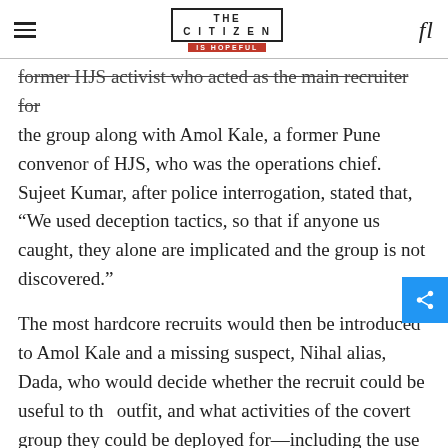THE CITIZEN IS HOPEFUL
former HJS activist who acted as the main recruiter for the group along with Amol Kale, a former Pune convenor of HJS, who was the operations chief. Sujeet Kumar, after police interrogation, stated that, “We used deception tactics, so that if anyone us caught, they alone are implicated and the group is not discovered.”
The most hardcore recruits would then be introduced to Amol Kale and a missing suspect, Nihal alias, Dada, who would decide whether the recruit could be useful to the outfit, and what activities of the covert group they could be deployed for—including the use of guns to kill, and subversive activities like communal riots and bomb blasts